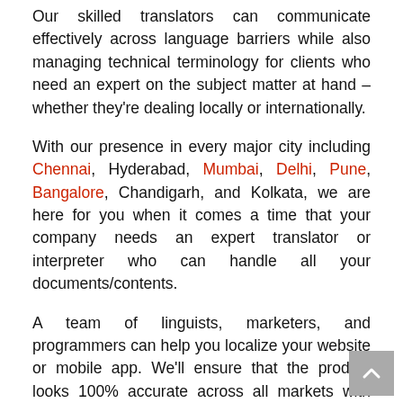Our skilled translators can communicate effectively across language barriers while also managing technical terminology for clients who need an expert on the subject matter at hand – whether they're dealing locally or internationally.
With our presence in every major city including Chennai, Hyderabad, Mumbai, Delhi, Pune, Bangalore, Chandigarh, and Kolkata, we are here for you when it comes a time that your company needs an expert translator or interpreter who can handle all your documents/contents.
A team of linguists, marketers, and programmers can help you localize your website or mobile app. We'll ensure that the product looks 100% accurate across all markets with any language-translating from Hindi to English, from English to Hindi, Gujrathi, Marathi, Tamil, Telugu, Punjabi, Kannada, and more.
Why Choose Abayam Translations?
Choosing Abayam